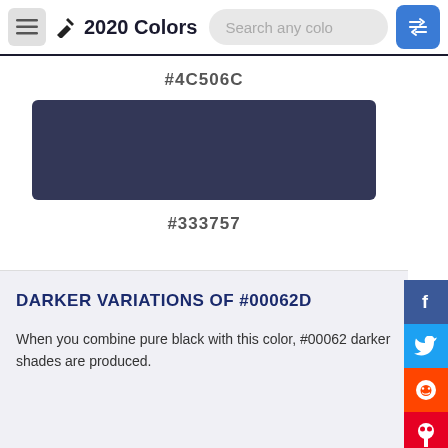2020 Colors
#4C506C
[Figure (illustration): Color swatch rectangle showing #333757 dark navy blue color]
#333757
DARKER VARIATIONS OF #00062D
When you combine pure black with this color, #00062 darker shades are produced.